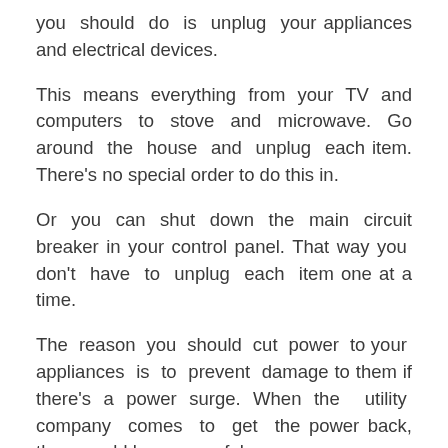you should do is unplug your appliances and electrical devices.
This means everything from your TV and computers to stove and microwave. Go around the house and unplug each item. There's no special order to do this in.
Or you can shut down the main circuit breaker in your control panel. That way you don't have to unplug each item one at a time.
The reason you should cut power to your appliances is to prevent damage to them if there's a power surge. When the utility company comes to get the power back, there could be a powerful